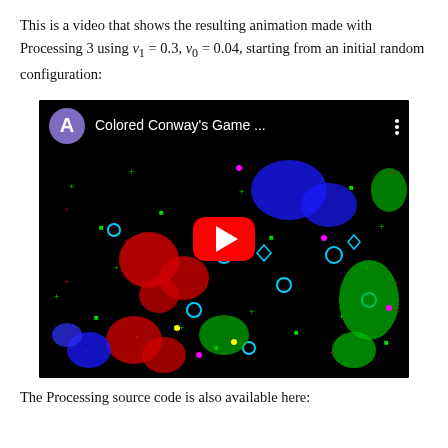This is a video that shows the resulting animation made with Processing 3 using v₁ = 0.3, v₀ = 0.04, starting from an initial random configuration:
[Figure (screenshot): YouTube video thumbnail showing 'Colored Conway's Game ...' — a black background with colorful cellular automaton patterns (red, green, blue shapes and symbols), a red YouTube play button in the center, channel avatar 'A' in purple circle top-left.]
The Processing source code is also available here: